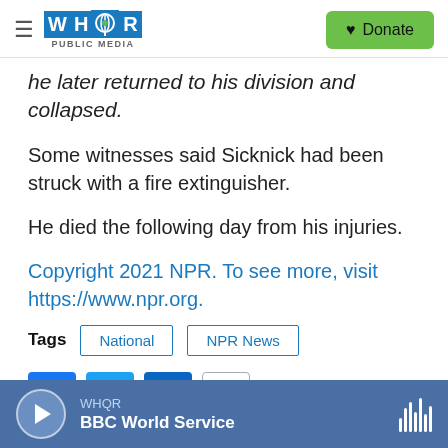WHQR PUBLIC MEDIA | Donate
he later returned to his division and collapsed.
Some witnesses said Sicknick had been struck with a fire extinguisher.
He died the following day from his injuries.
Copyright 2021 NPR. To see more, visit https://www.npr.org.
Tags  National  NPR News
[Figure (infographic): Social sharing icons: Facebook (blue), Twitter (blue), LinkedIn (blue), Email (outlined)]
WHQR  BBC World Service